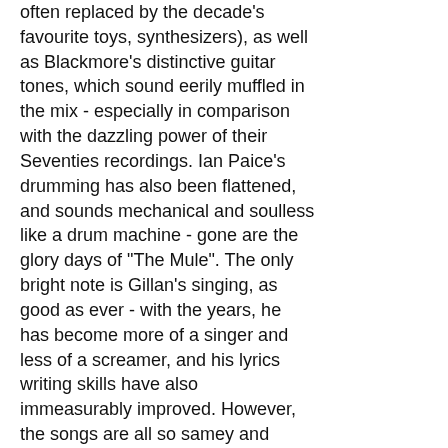often replaced by the decade's favourite toys, synthesizers), as well as Blackmore's distinctive guitar tones, which sound eerily muffled in the mix - especially in comparison with the dazzling power of their Seventies recordings. Ian Paice's drumming has also been flattened, and sounds mechanical and soulless like a drum machine - gone are the glory days of "The Mule". The only bright note is Gillan's singing, as good as ever - with the years, he has become more of a singer and less of a screamer, and his lyrics writing skills have also immeasurably improved. However, the songs are all so samey and unmemorable that even one of the best vocalists in the history of rock can hardly rescue them.
Yes, the songs... That is the biggest cause for concern on "The House of Blue Light". When good, DP's songwriting can be stellar, but it can also plumb unnamed depths when lack of inspiration strikes